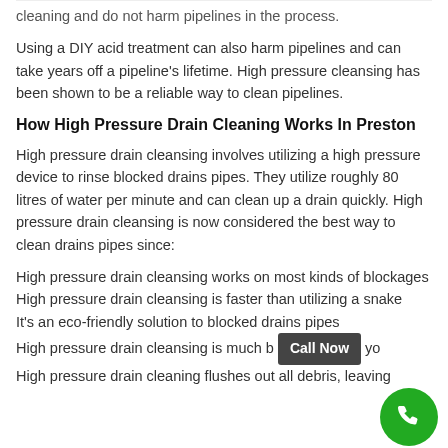cleaning and do not harm pipelines in the process.
Using a DIY acid treatment can also harm pipelines and can take years off a pipeline's lifetime. High pressure cleansing has been shown to be a reliable way to clean pipelines.
How High Pressure Drain Cleaning Works In Preston
High pressure drain cleansing involves utilizing a high pressure device to rinse blocked drains pipes. They utilize roughly 80 litres of water per minute and can clean up a drain quickly. High pressure drain cleansing is now considered the best way to clean drains pipes since:
High pressure drain cleansing works on most kinds of blockages
High pressure drain cleansing is faster than utilizing a snake
It's an eco-friendly solution to blocked drains pipes
High pressure drain cleansing is much b[...] yo[...]
High pressure drain cleaning flushes out all debris, leaving